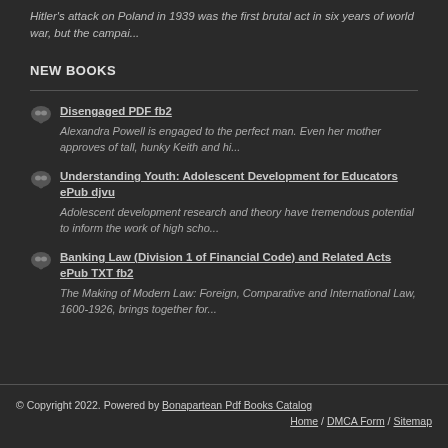Hitler's attack on Poland in 1939 was the first brutal act in six years of world war, but the campai...
NEW BOOKS
Disengaged PDF fb2 — Alexandra Powell is engaged to the perfect man. Even her mother approves of tall, hunky Keith and hi...
Understanding Youth: Adolescent Development for Educators ePub djvu — Adolescent development research and theory have tremendous potential to inform the work of high scho...
Banking Law (Division 1 of Financial Code) and Related Acts ePub TXT fb2 — The Making of Modern Law: Foreign, Comparative and International Law, 1600-1926, brings together for...
© Copyright 2022. Powered by Bonapartean Pdf Books Catalog | Home / DMCA Form / Sitemap